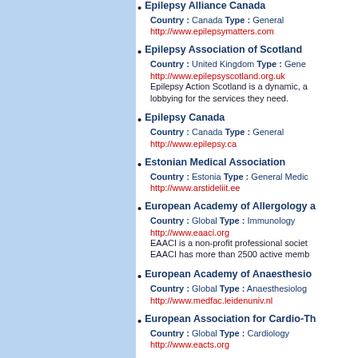Epilepsy Alliance Canada
Country: Canada Type: General
http://www.epilepsymatters.com
Epilepsy Association of Scotland
Country: United Kingdom Type: General
http://www.epilepsyscotland.org.uk
Epilepsy Action Scotland is a dynamic, a... lobbying for the services they need.
Epilepsy Canada
Country: Canada Type: General
http://www.epilepsy.ca
Estonian Medical Association
Country: Estonia Type: General Medic...
http://www.arstideliit.ee
European Academy of Allergology a...
Country: Global Type: Immunology
http://www.eaaci.org
EAACI is a non-profit professional societ... EAACI has more than 2500 active memb...
European Academy of Anaesthesio...
Country: Global Type: Anaesthesiolog...
http://www.medfac.leidenuniv.nl
European Association for Cardio-Th...
Country: Global Type: Cardiology
http://www.eacts.org